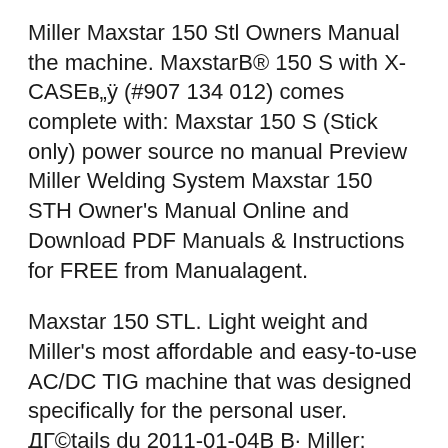Miller Maxstar 150 Stl Owners Manual the machine. MaxstarB® 150 S with X-CASEв„ÿ (#907 134 012) comes complete with: Maxstar 150 S (Stick only) power source no manual Preview Miller Welding System Maxstar 150 STH Owner's Manual Online and Download PDF Manuals & Instructions for FREE from Manualagent.
Maxstar 150 STL. Light weight and Miller's most affordable and easy-to-use AC/DC TIG machine that was designed specifically for the personal user. ДГ©tails du 2011-01-04В В· Miller; Miller Maxstar 150 S; I have a Maxstar 150 STL and it is a very sweet machine